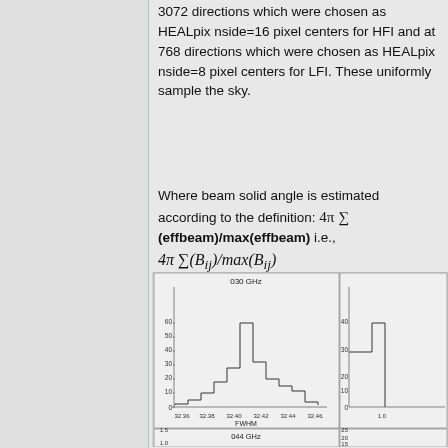3072 directions which were chosen as HEALpix nside=16 pixel centers for HFI and at 768 directions which were chosen as HEALpix nside=8 pixel centers for LFI. These uniformly sample the sky.
Where beam solid angle is estimated according to the definition: 4π Σ (effbeam)/max(effbeam) i.e., 4π Σ(B_ij)/max(B_ij)
[Figure (histogram): Histogram of FWHM values for 030 GHz channel, x-axis from 32.36 to 32.46, y-axis 0 to 60]
[Figure (histogram): Partial histogram visible at right edge, y-axis 0-40, x-axis near 1.0]
[Figure (histogram): Histogram of FWHM values for 044 GHz channel, y-axis 0-1.5, partial view]
[Figure (histogram): Partial histogram visible at right edge, y-axis 0-25]